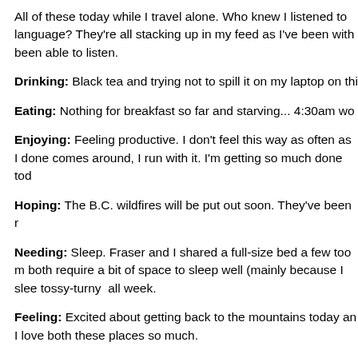All of these today while I travel alone. Who knew I listened to language? They're all stacking up in my feed as I've been with been able to listen.
Drinking: Black tea and trying not to spill it on my laptop on thi
Eating: Nothing for breakfast so far and starving... 4:30am wo
Enjoying: Feeling productive. I don't feel this way as often as I done comes around, I run with it. I'm getting so much done tod
Hoping: The B.C. wildfires will be put out soon. They've been r
Needing: Sleep. Fraser and I shared a full-size bed a few too m both require a bit of space to sleep well (mainly because I slee tossy-turny all week.
Feeling: Excited about getting back to the mountains today an I love both these places so much.
Wearing: My ultimate plane outfit has consisted of these Stud